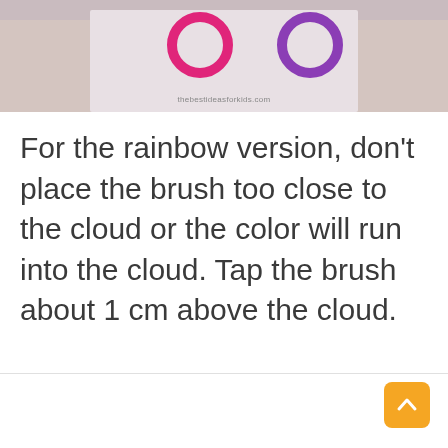[Figure (photo): Hands holding a light-colored craft or card showing circular ring shapes (pink/magenta and purple) against a light background. Watermark reads 'thebestideasforkids.com'.]
For the rainbow version, don't place the brush too close to the cloud or the color will run into the cloud. Tap the brush about 1 cm above the cloud.